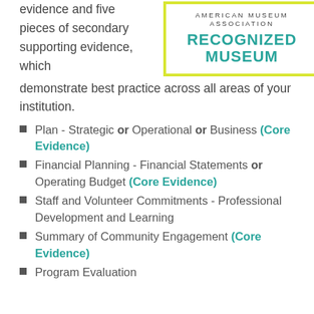evidence and five pieces of secondary supporting evidence, which demonstrate best practice across all areas of your institution.
[Figure (logo): American Alliance of Museums Recognized Museum logo — teal text on white background with yellow-green border]
Plan - Strategic or Operational or Business (Core Evidence)
Financial Planning - Financial Statements or Operating Budget (Core Evidence)
Staff and Volunteer Commitments - Professional Development and Learning
Summary of Community Engagement (Core Evidence)
Program Evaluation